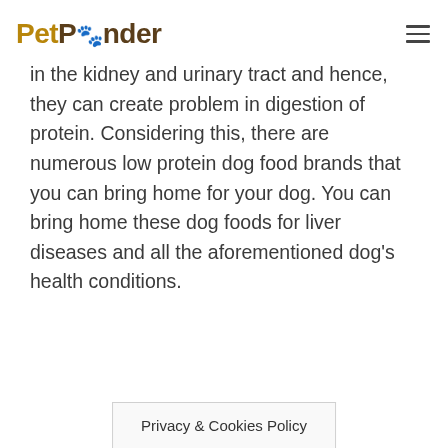PetPonder
in the kidney and urinary tract and hence, they can create problem in digestion of protein. Considering this, there are numerous low protein dog food brands that you can bring home for your dog. You can bring home these dog foods for liver diseases and all the aforementioned dog's health conditions.
Privacy & Cookies Policy